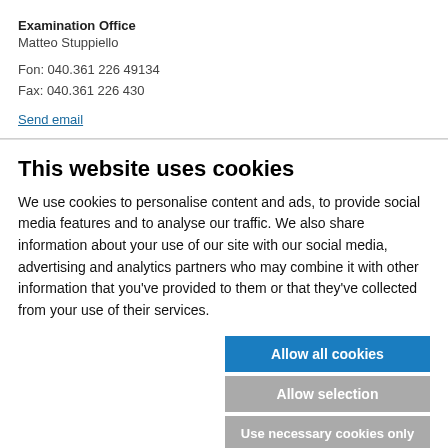Examination Office
Matteo Stuppiello

Fon: 040.361 226 49134
Fax: 040.361 226 430
Send email
This website uses cookies
We use cookies to personalise content and ads, to provide social media features and to analyse our traffic. We also share information about your use of our site with our social media, advertising and analytics partners who may combine it with other information that you've provided to them or that they've collected from your use of their services.
Allow all cookies
Allow selection
Use necessary cookies only
Necessary   Preferences   Statistics   Marketing   Show details